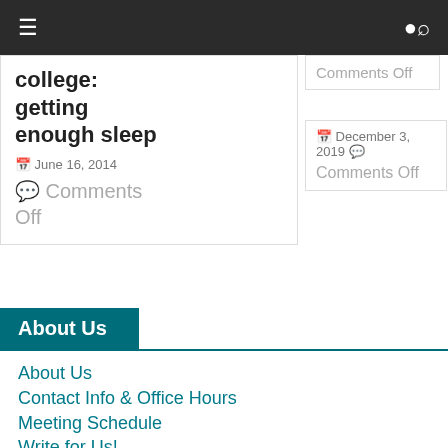≡  🔍
college: getting enough sleep
June 16, 2014
Comments Off
Comments Off
December 3, 2019  Comments Off
About Us
About Us
Contact Info & Office Hours
Meeting Schedule
Write for Us!